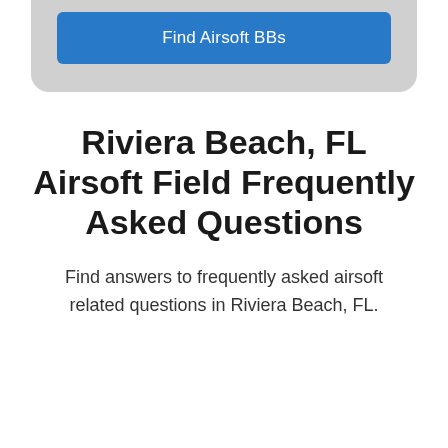[Figure (other): Gray rounded card with a blue 'Find Airsoft BBs' button]
Riviera Beach, FL Airsoft Field Frequently Asked Questions
Find answers to frequently asked airsoft related questions in Riviera Beach, FL.